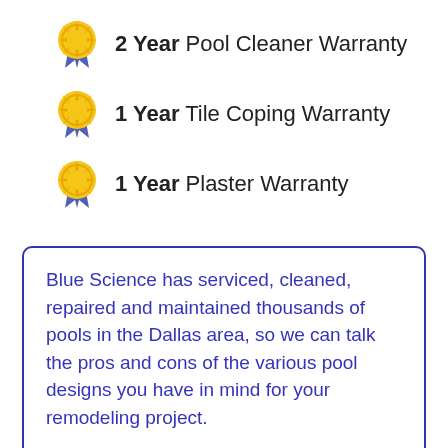2 Year Pool Cleaner Warranty
1 Year Tile Coping Warranty
1 Year Plaster Warranty
Blue Science has serviced, cleaned, repaired and maintained thousands of pools in the Dallas area, so we can talk the pros and cons of the various pool designs you have in mind for your remodeling project.
Since we are also a pool service company we know how to protect your investment in your swimming pool with the proper selection of pool equipment